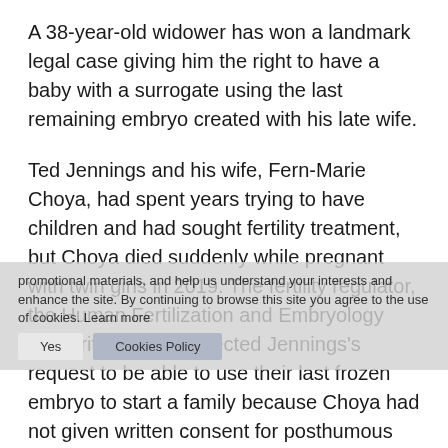A 38-year-old widower has won a landmark legal case giving him the right to have a baby with a surrogate using the last remaining embryo created with his late wife.
Ted Jennings and his wife, Fern-Marie Choya, had spent years trying to have children and had sought fertility treatment, but Choya died suddenly while pregnant with twin girls in 2019. The fertility regulator, the Human Fertilization and Embryology Authority (HFEA), rejected Jennings's request to be able to use their last frozen embryo to start a family because Choya had not given written consent for posthumous surrogacy.
But on Wednesday, the high court's family